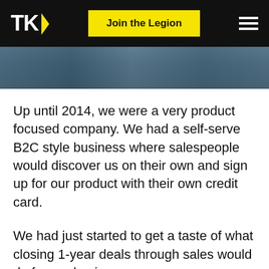TK | Join the Legion
[Figure (photo): Partial photo strip showing people at the top of the page]
Up until 2014, we were a very product focused company. We had a self-serve B2C style business where salespeople would discover us on their own and sign up for our product with their own credit card.
We had just started to get a taste of what closing 1-year deals through sales would do for our business.
The biggest change we made in 2014 was our